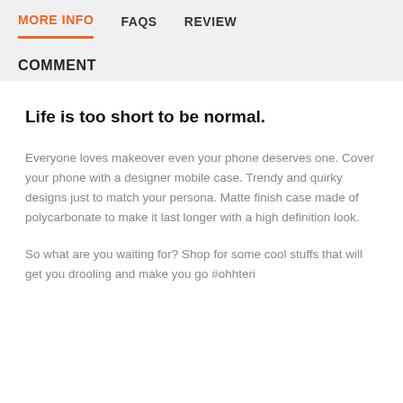MORE INFO   FAQS   REVIEW
COMMENT
Life is too short to be normal.
Everyone loves makeover even your phone deserves one. Cover your phone with a designer mobile case. Trendy and quirky designs just to match your persona. Matte finish case made of polycarbonate to make it last longer with a high definition look.
So what are you waiting for? Shop for some cool stuffs that will get you drooling and make you go #ohhteri
PRODUCT